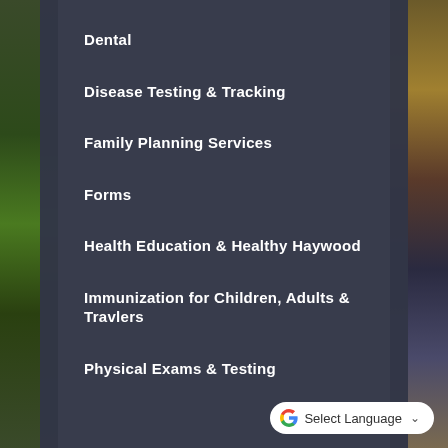Dental
Disease Testing & Tracking
Family Planning Services
Forms
Health Education & Healthy Haywood
Immunization for Children, Adults & Travlers
Physical Exams & Testing
[Figure (logo): Google Translate Select Language widget with Google G logo and dropdown arrow]